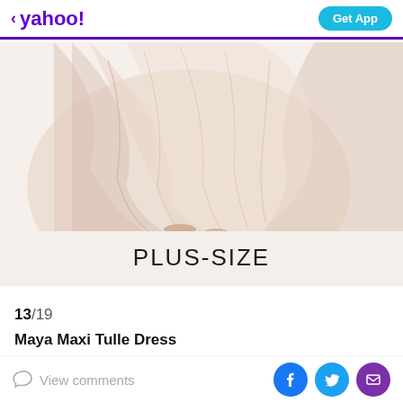< yahoo! Get App
[Figure (photo): Close-up photo of a plus-size woman wearing a flowing blush/champagne tulle maxi dress, showing the lower half of the dress and strappy heels. White background. Below the photo is a banner reading PLUS-SIZE.]
13/19
Maya Maxi Tulle Dress
View comments | Facebook | Twitter | Email